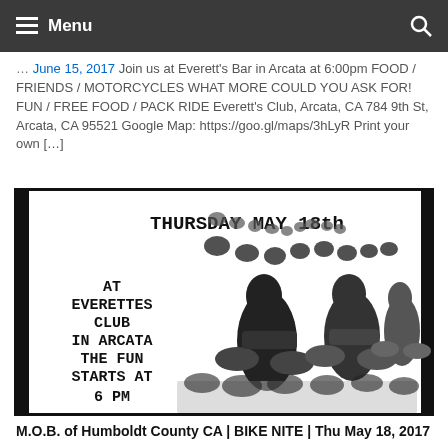Menu
June 15, 2017 Join us at Everett's Bar in Arcata at 6:00pm FOOD / FRIENDS / MOTORCYCLES WHAT MORE COULD YOU ASK FOR! FUN / FREE FOOD / PACK RIDE Everett's Club, Arcata, CA 784 9th St, Arcata, CA 95521 Google Map: https://goo.gl/maps/3hLyR Print your own […]
[Figure (illustration): Black and white flyer for a motorcycle event. Shows a large group of motorcyclists riding. Text reads: THURSDAY MAY 18th AT EVERETTES CLUB IN ARCATA THE FUN STARTS AT 6 PM]
M.O.B. of Humboldt County CA | BIKE NITE | Thu May 18, 2017